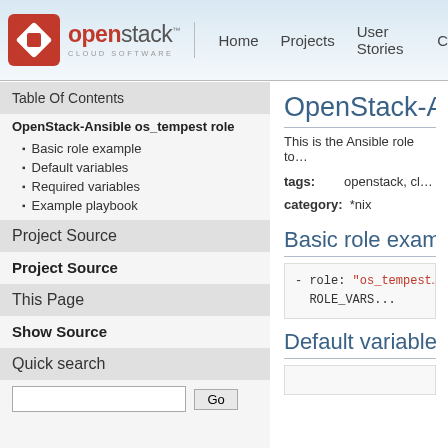OpenStack CLOUD SOFTWARE — Home | Projects | User Stories | C...
Table Of Contents
OpenStack-Ansible os_tempest role
Basic role example
Default variables
Required variables
Example playbook
Project Source
Project Source
This Page
Show Source
Quick search
OpenStack-A...
This is the Ansible role to...
tags: openstack, cl...
category: *nix
Basic role exam...
Default variables...